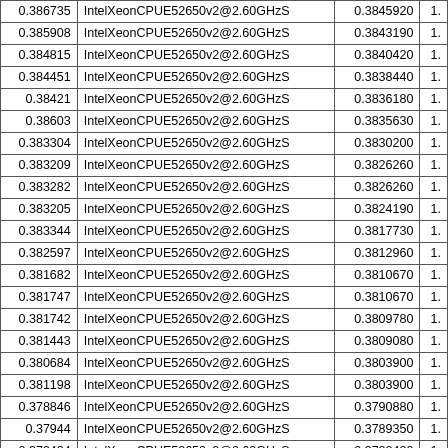| 0.386735 | IntelXeonCPUE52650v2@2.60GHzS | 0.3845920 | 1. |
| 0.385908 | IntelXeonCPUE52650v2@2.60GHzS | 0.3843190 | 1. |
| 0.384815 | IntelXeonCPUE52650v2@2.60GHzS | 0.3840420 | 1. |
| 0.384451 | IntelXeonCPUE52650v2@2.60GHzS | 0.3838440 | 1. |
| 0.38421 | IntelXeonCPUE52650v2@2.60GHzS | 0.3836180 | 1. |
| 0.38603 | IntelXeonCPUE52650v2@2.60GHzS | 0.3835630 | 1. |
| 0.383304 | IntelXeonCPUE52650v2@2.60GHzS | 0.3830200 | 1. |
| 0.383209 | IntelXeonCPUE52650v2@2.60GHzS | 0.3826260 | 1. |
| 0.383282 | IntelXeonCPUE52650v2@2.60GHzS | 0.3826260 | 1. |
| 0.383205 | IntelXeonCPUE52650v2@2.60GHzS | 0.3824190 | 1. |
| 0.383344 | IntelXeonCPUE52650v2@2.60GHzS | 0.3817730 | 1. |
| 0.382597 | IntelXeonCPUE52650v2@2.60GHzS | 0.3812960 | 1. |
| 0.381682 | IntelXeonCPUE52650v2@2.60GHzS | 0.3810670 | 1. |
| 0.381747 | IntelXeonCPUE52650v2@2.60GHzS | 0.3810670 | 1. |
| 0.381742 | IntelXeonCPUE52650v2@2.60GHzS | 0.3809780 | 1. |
| 0.381443 | IntelXeonCPUE52650v2@2.60GHzS | 0.3809080 | 1. |
| 0.380684 | IntelXeonCPUE52650v2@2.60GHzS | 0.3803900 | 1. |
| 0.381198 | IntelXeonCPUE52650v2@2.60GHzS | 0.3803900 | 1. |
| 0.378846 | IntelXeonCPUE52650v2@2.60GHzS | 0.3790880 | 1. |
| 0.37944 | IntelXeonCPUE52650v2@2.60GHzS | 0.3789350 | 1. |
| 0.379424 | IntelXeonCPUE52650v2@2.60GHzS | 0.3788420 | 1. |
| 0.37916 | IntelXeonCPUE52650v2@2.60GHzS | 0.3786060 | 1. |
| 0.37894 | IntelXeonCPUE52650v2@2.60GHzS | 0.3782670 | 1. |
| 0.378518 | IntelXeonCPUE52650v2@2.60GHzS | 0.3778290 | 1. |